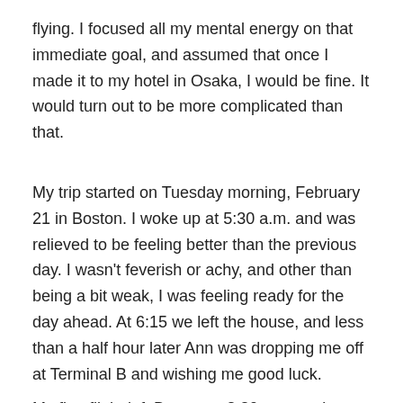flying. I focused all my mental energy on that immediate goal, and assumed that once I made it to my hotel in Osaka, I would be fine. It would turn out to be more complicated than that.
My trip started on Tuesday morning, February 21 in Boston. I woke up at 5:30 a.m. and was relieved to be feeling better than the previous day. I wasn't feverish or achy, and other than being a bit weak, I was feeling ready for the day ahead. At 6:15 we left the house, and less than a half hour later Ann was dropping me off at Terminal B and wishing me good luck.
My first flight left Boston at 8:30 a.m. and arrived in Toronto about 10:20. So far, so good. I had taken the